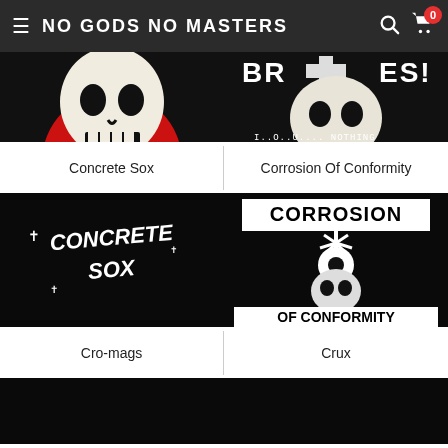NO GODS NO MASTERS
[Figure (photo): Black background with skull and red circle — Concrete Sox merchandise image (top, cropped)]
[Figure (photo): Black background with skull and text 'I.O.U....NOTHING' — Corrosion Of Conformity merchandise image (top, cropped)]
Concrete Sox
Corrosion Of Conformity
[Figure (photo): Black background with graffiti-style text 'CONCRETE SOX' — Concrete Sox band logo merchandise]
[Figure (photo): Black background with 'CORROSION OF CONFORMITY' text and skull/radiation symbol graphic — band merchandise]
Cro-mags
Crux
[Figure (photo): Partial view of a product image for Cro-mags (cropped at bottom)]
[Figure (photo): Partial view of a product image for Crux (cropped at bottom)]